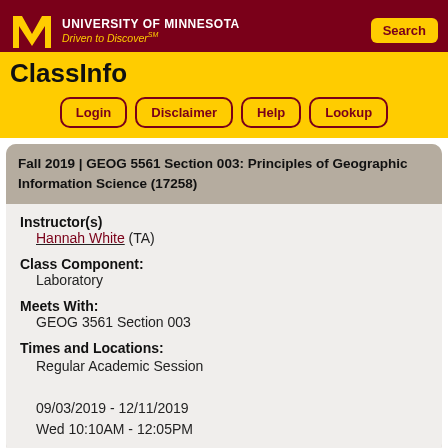[Figure (logo): University of Minnesota block M logo in gold/yellow on dark red background]
UNIVERSITY OF MINNESOTA Driven to Discover℠
ClassInfo
Fall 2019  |  GEOG 5561 Section 003: Principles of Geographic Information Science (17258)
Instructor(s)
    Hannah White (TA)
Class Component:
    Laboratory
Meets With:
    GEOG 3561 Section 003
Times and Locations:
    Regular Academic Session

    09/03/2019 - 12/11/2019
    Wed 10:10AM - 12:05PM